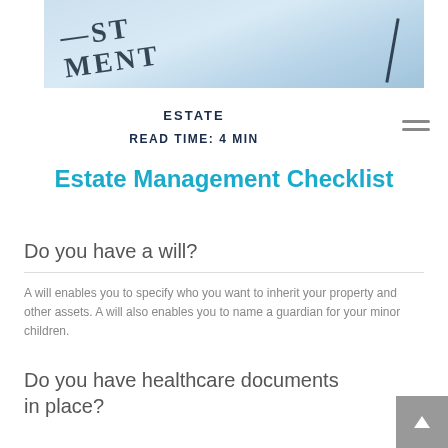[Figure (photo): Close-up photo of a legal document (last will and testament) with dark text visible, bluish-white background, with a dark pen or ruler diagonally across the top-right corner.]
ESTATE
READ TIME: 4 MIN
Estate Management Checklist
Do you have a will?
A will enables you to specify who you want to inherit your property and other assets. A will also enables you to name a guardian for your minor children.
Do you have healthcare documents in place?